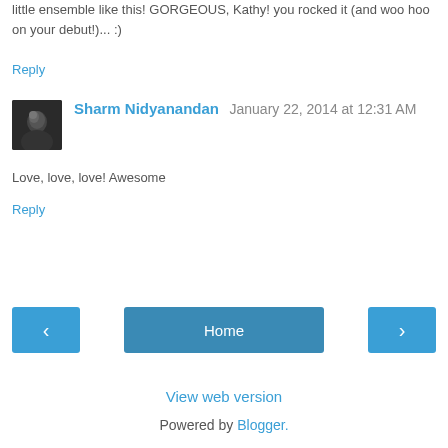little ensemble like this! GORGEOUS, Kathy! you rocked it (and woo hoo on your debut!)... :)
Reply
Sharm Nidyanandan  January 22, 2014 at 12:31 AM
[Figure (photo): Small avatar photo of Sharm Nidyanandan, dark background with person]
Love, love, love! Awesome
Reply
Home
View web version
Powered by Blogger.